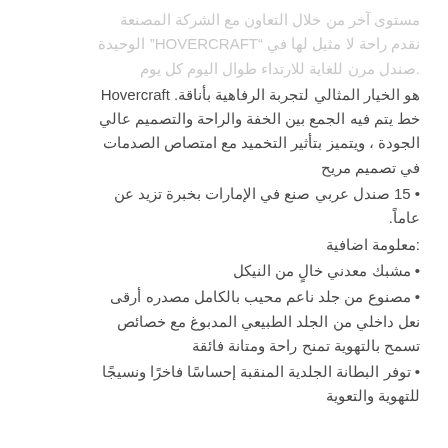مستوى آخر من خلال التعاون مع الشركة المصنعة نقدم راحة لا مثيل لها في "HOVERCRAFT" الوحيدة .صندل مرن للغاية للارتداء طوال اليوم كل يوم
هو الخيار المثالي لتجربة الرفاهية بأناقة. Hovercraft خط يتم فيه الجمع بين الخفة والراحة والتصميم عالي الجودة ، ويتميز بتأثير التخميد مع امتصاص الصدمات في تصميم مريح
• صندل عربي صنع في الإمارات بخبرة تزيد عن 15 عاماً.
معلومة اضافية:
• مشبك معدني خالٍ من النيكل
• مصنوع من جلد ناعم محيب بالكامل مصدره أرقى نعل داخلي من الجلد الطبيعي المدبوغ مع خصائص تسمح بالتهوية تمنح راحة ومتانة فائقة
• توفر البطانة الجلدية المنقبة إحساسًا فاخرًا ونسيجًا للتهوية والتعوية